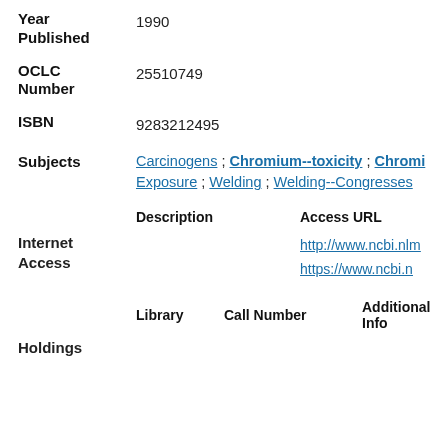| Field | Value |
| --- | --- |
| Year Published | 1990 |
| OCLC Number | 25510749 |
| ISBN | 9283212495 |
| Subjects | Carcinogens ; Chromium--toxicity ; Chromium--Exposure ; Welding ; Welding--Congresses |
| Description | Access URL |
| --- | --- |
|  | http://www.ncbi.nlm... |
|  | https://www.ncbi.n... |
| Library | Call Number | Additional Info |
| --- | --- | --- |